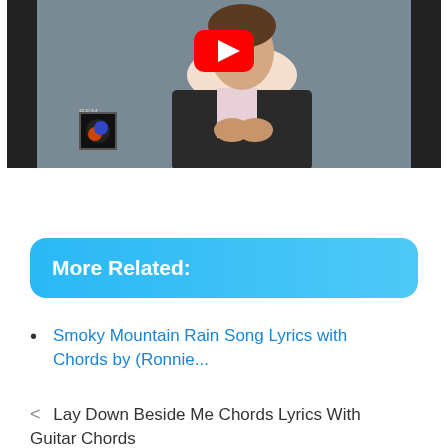[Figure (screenshot): YouTube video thumbnail showing a man in a dark blazer smiling, with the YouTube play button overlay in the top center, and a small album cover in the lower left area.]
More Related:
Smoky Mountain Rain Song Lyrics with Chords by (Ronnie...
< Lay Down Beside Me Chords Lyrics With Guitar Chords